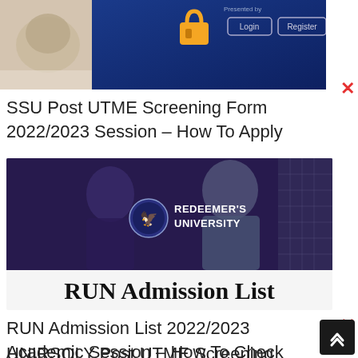[Figure (screenshot): Partial screenshot of a login/registration webpage with a padlock icon on a blue background and Login/Register buttons, alongside a blurred coffee cup image on the left]
SSU Post UTME Screening Form 2022/2023 Session – How To Apply
[Figure (photo): Promotional image for Redeemer's University showing two smiling men in suits with the university logo and text 'REDEEMER'S UNIVERSITY' overlaid, with a bottom banner reading 'RUN Admission List' in bold black text on white background]
RUN Admission List 2022/2023 Academic Session – How To Check
UNIRSOLY Post UTME Screening F...